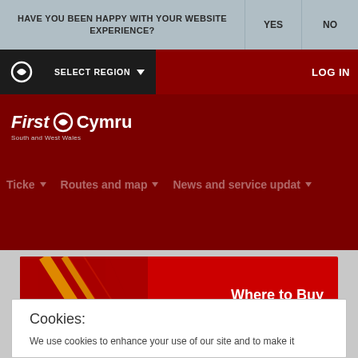HAVE YOU BEEN HAPPY WITH YOUR WEBSITE EXPERIENCE?   YES   NO
[Figure (screenshot): Navigation bar with dark background showing logo circle, SELECT REGION dropdown, and LOG IN button on dark red background]
[Figure (logo): First Cymru logo - South and West Wales on dark red background]
[Figure (screenshot): Navigation menu items: Tickets, Routes and maps, News and service updates on dark red background]
[Figure (screenshot): First Cymru Where to Buy / Lle i Brynu banner advertisement on red background with diagonal stripe design]
Cookies:
We use cookies to enhance your use of our site and to make it